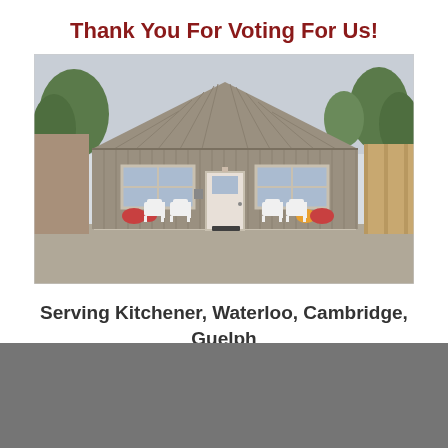Thank You For Voting For Us!
[Figure (photo): Exterior photo of a gray metal building with a gabled roof. Two white plastic chairs on each side of a central white door. Two windows visible, flower pots near the entrance, trees in background, concrete patio area in front.]
Serving Kitchener, Waterloo, Cambridge, Guelph & Surrounding Areas Since 1999